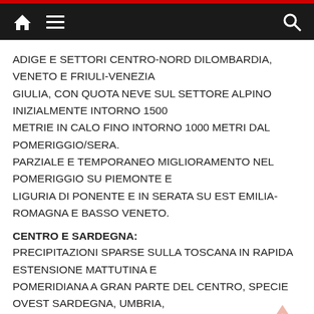Home | Menu | Search
ADIGE E SETTORI CENTRO-NORD DILOMBARDIA, VENETO E FRIULI-VENEZIA GIULIA, CON QUOTA NEVE SUL SETTORE ALPINO INIZIALMENTE INTORNO 1500 METRIE IN CALO FINO INTORNO 1000 METRI DAL POMERIGGIO/SERA. PARZIALE E TEMPORANEO MIGLIORAMENTO NEL POMERIGGIO SU PIEMONTE E LIGURIA DI PONENTE E IN SERATA SU EST EMILIA-ROMAGNA E BASSO VENETO.
CENTRO E SARDEGNA:
PRECIPITAZIONI SPARSE SULLA TOSCANA IN RAPIDA ESTENSIONE MATTUTINA E POMERIDIANA A GRAN PARTE DEL CENTRO, SPECIE OVEST SARDEGNA, UMBRIA, LAZIO ERESTANTE SETTORE APPENNINICO, CON